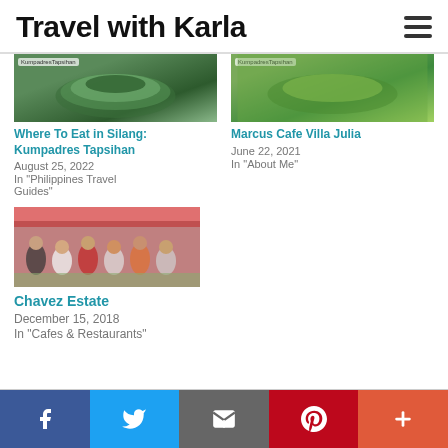Travel with Karla
[Figure (photo): Food photo thumbnail for Kumpadres Tapsihan article]
Where To Eat in Silang: Kumpadres Tapsihan
August 25, 2022
In "Philippines Travel Guides"
[Figure (photo): Food photo thumbnail for Marcus Cafe Villa Julia article]
Marcus Cafe Villa Julia
June 22, 2021
In "About Me"
[Figure (photo): Group dining photo thumbnail for Chavez Estate article]
Chavez Estate
December 15, 2018
In "Cafes & Restaurants"
Social share bar: Facebook, Twitter, Email, Pinterest, More